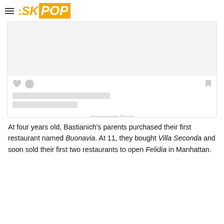SKPOP
[Figure (other): Instagram Post placeholder card with grey image area, heart and bubble icons, two grey skeleton text bars, and 'Instagram Post' label]
At four years old, Bastianich's parents purchased their first restaurant named Buonavia. At 11, they bought Villa Seconda and soon sold their first two restaurants to open Felidia in Manhattan.